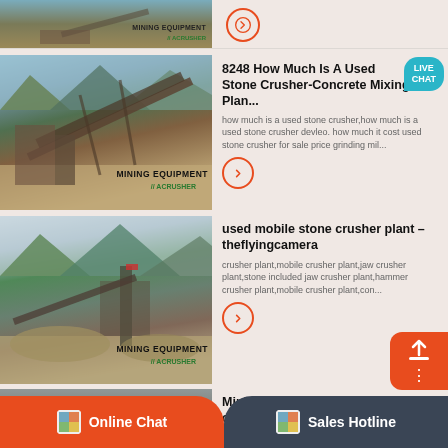[Figure (photo): Partial top of a mining equipment listing showing a quarry/crusher site image with MINING EQUIPMENT ACRUSHER watermark, and an arrow button on the right]
[Figure (photo): Mining equipment/stone crusher plant at a quarry site with conveyor belts and machinery, watermarked MINING EQUIPMENT ACRUSHER]
8248 How Much Is A Used Stone Crusher-Concrete Mixing Plant
how much is a used stone crusher,how much is a used stone crusher devleo. how much it cost used stone crusher for sale price grinding mil...
[Figure (photo): Mining equipment/mobile stone crusher plant with mountains in background, watermarked MINING EQUIPMENT ACRUSHER]
used mobile stone crusher plant – theflyingcamera
crusher plant,mobile crusher plant,jaw crusher plant,stone included jaw crusher plant,hammer crusher plant,mobile crusher plant,con...
[Figure (photo): Partial bottom: stone crushing plant with person visible, Mining Industry article thumbnail]
Mining Industry: How does a stone crushing plant work ...
D...
Online Chat
Sales Hotline